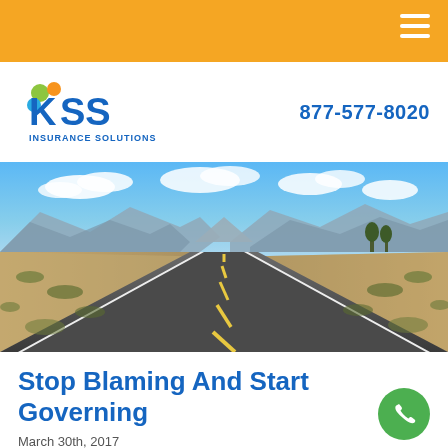KSS Insurance Solutions — 877-577-8020
[Figure (logo): KSS Insurance Solutions logo with colorful dot and blue letters]
877-577-8020
[Figure (photo): Straight desert highway stretching to the horizon with mountains in background and blue sky]
Stop Blaming And Start Governing
March 30th, 2017